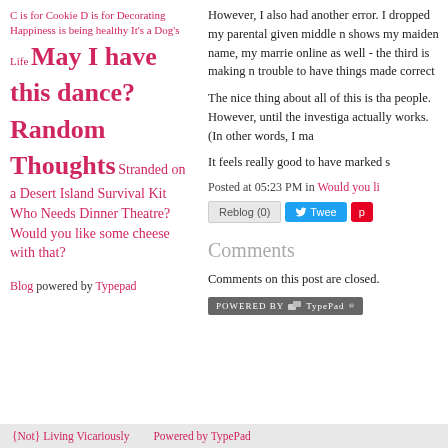C is for Cookie D is for Decorating Happiness is being healthy It's a Dog's Life May I have this dance? Random Thoughts Stranded on a Desert Island Survival Kit Who Needs Dinner Theatre? Would you like some cheese with that?
Blog powered by Typepad
However, I also had another error. I dropped my parental given middle n shows my maiden name, my marrie online as well - the third is making n trouble to have things made correct
The nice thing about all of this is tha people. However, until the investiga actually works. (In other words, I ma
It feels really good to have marked s
Posted at 05:23 PM in Would you li
[Figure (screenshot): Reblog, Tweet, and Pinterest buttons]
Comments
Comments on this post are closed.
[Figure (logo): Powered by TypePad badge]
{Not} Living Vicariously   Powered by TypePad